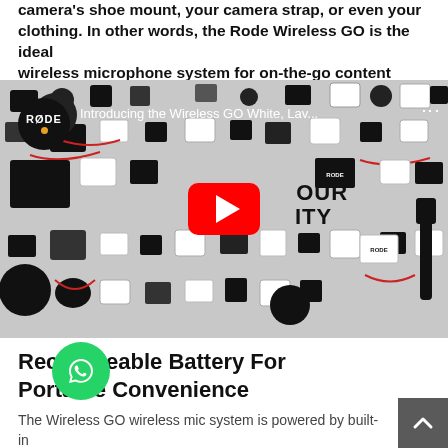camera's shoe mount, your camera strap, or even your clothing. In other words, the Rode Wireless GO is the ideal wireless microphone system for on-the-go content creators.
[Figure (screenshot): YouTube video thumbnail for 'Introducing the Wireless GO White, Lav...' by RØDE, showing RØDE products arranged on a white background with text 'EXPAND YOUR CREATIVITY' and a YouTube play button in the center.]
Rechargeable Battery For Portable Convenience
The Wireless GO wireless mic system is powered by built-in batteries, rechargeable via USB-C. You can expect up to se